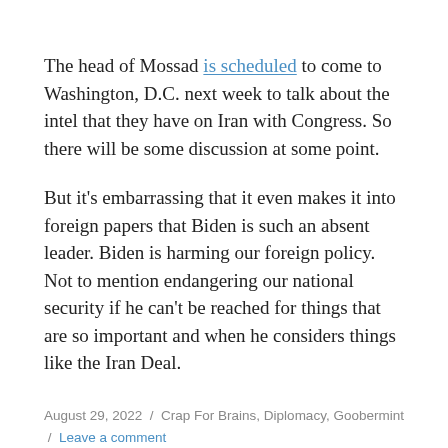The head of Mossad is scheduled to come to Washington, D.C. next week to talk about the intel that they have on Iran with Congress. So there will be some discussion at some point.
But it's embarrassing that it even makes it into foreign papers that Biden is such an absent leader. Biden is harming our foreign policy. Not to mention endangering our national security if he can't be reached for things that are so important and when he considers things like the Iran Deal.
August 29, 2022 / Crap For Brains, Diplomacy, Goobermint / Leave a comment